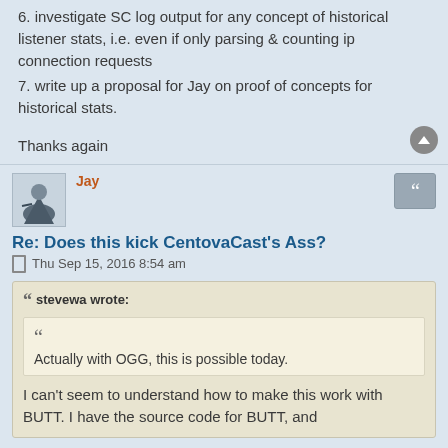6. investigate SC log output for any concept of historical listener stats, i.e. even if only parsing & counting ip connection requests
7. write up a proposal for Jay on proof of concepts for historical stats.
Thanks again
Jay
Re: Does this kick CentovaCast's Ass?
Thu Sep 15, 2016 8:54 am
stevewa wrote:
Actually with OGG, this is possible today.
I can't seem to understand how to make this work with BUTT. I have the source code for BUTT, and